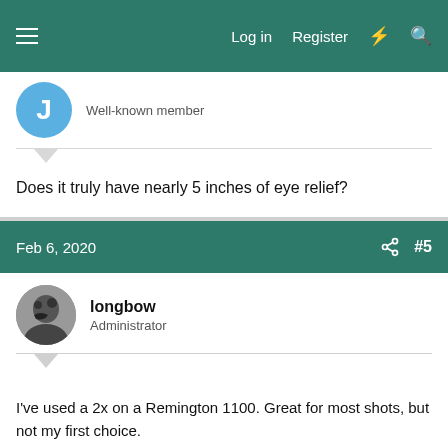Log in  Register
Well-known member
Does it truly have nearly 5 inches of eye relief?
Feb 6, 2020  #5
longbow
Administrator
I've used a 2x on a Remington 1100. Great for most shots, but not my first choice.

I would go with a 2x7 x33mm. VX Freedom 2x7x33. It's 6 oz heavier than the one you are looking for. (nothing). Or you could go with a VX3 in the same power for more money and better glass.